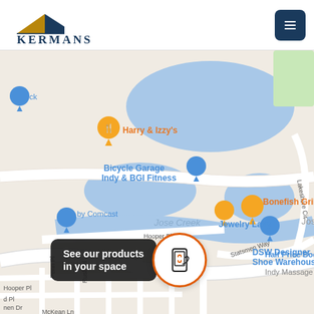[Figure (logo): Kermans logo with roof/triangle icon in navy and gold, company name in navy serif font]
[Figure (screenshot): Google Maps screenshot showing area near Jose Creek in Indianapolis, with pins for Harry & Izzy's, Bicycle Garage Indy & BGI Fitness, Bonefish Grill, Jewelry Lady, DSW Designer Shoe Warehouse, Cooper's Water Conditioning, Half Price Books, Indy Massage, and other locations. Streets visible: Hooper Pl, Penn Pl, Rush Pl, Heyward Dr, Statsmen Way, Lakeshore Cir, McKean Ln.]
See our products in your space